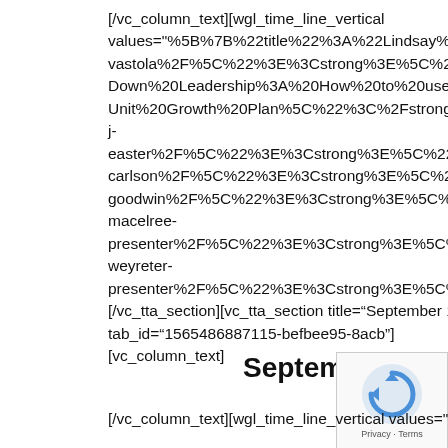[/vc_column_text][wgl_time_line_vertical values="%5B%7B%22title%22%3A%22Lindsay%20Vastola%22 vastola%2F%5C%22%3E%3Cstrong%3E%5C%22Trickle-Down%20Leadership%3A%20How%20to%20use%20Emotional Unit%20Growth%20Plan%5C%22%3C%2Fstrong%3E%3C%2Fa j-easter%2F%5C%22%3E%3Cstrong%3E%5C%22The%20Funnel carlson%2F%5C%22%3E%3Cstrong%3E%5C%22Profit%20First goodwin%2F%5C%22%3E%3Cstrong%3E%5C%22Websites%3 macelree-presenter%2F%5C%22%3E%3Cstrong%3E%5C%22High%20Pe weyreter-presenter%2F%5C%22%3E%3Cstrong%3E%5C%22Killing%20th [/vc_tta_section][vc_tta_section title="September 14th" tab_id="1565486887115-befbee95-8acb"] [vc_column_text]
September 14th
[/vc_column_text][wgl_time_line_vertical values="%5B%7B%22title%22%3A%22Madison%20Weyreter%